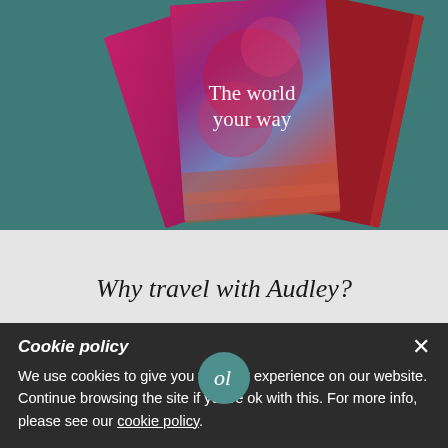[Figure (photo): Photo of several travel brochures fanned out on a teal background. The center brochure shows colourful floral artwork with the text 'The world your way' in white serif font. A magenta brochure is on the left and a dark red brochure with a person is on the right.]
Why travel with Audley?
Cookie policy
We use cookies to give you the best experience on our website. Continue browsing the site if you're ok with this. For more info, please see our cookie policy.